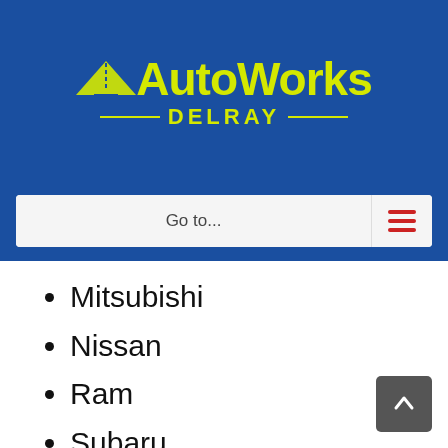[Figure (logo): AutoWorks Delray logo with yellow road/arrow graphic on blue background]
Go to...
Mitsubishi
Nissan
Ram
Subaru
Toyota
Volkswagen
Volvo